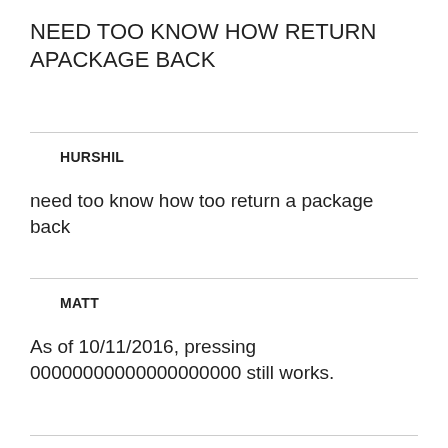NEED TOO KNOW HOW RETURN APACKAGE BACK
HURSHIL
need too know how too return a package back
MATT
As of 10/11/2016, pressing 00000000000000000000 still works.